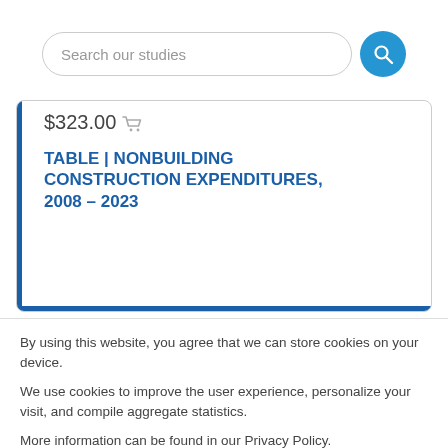Search our studies
$323.00
TABLE | NONBUILDING CONSTRUCTION EXPENDITURES, 2008 – 2023
By using this website, you agree that we can store cookies on your device.
We use cookies to improve the user experience, personalize your visit, and compile aggregate statistics.
More information can be found in our Privacy Policy.
Accept
Decline